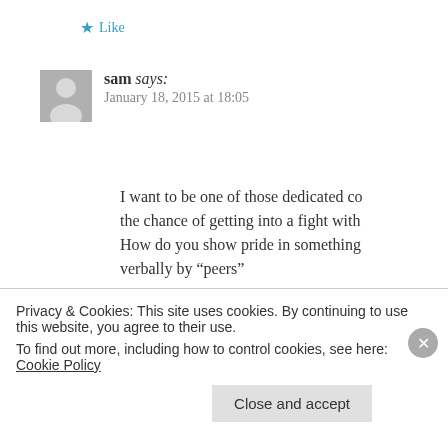★ Like
sam says:
January 18, 2015 at 18:05
I want to be one of those dedicated co... the chance of getting into a fight with... How do you show pride in something... verbally by "peers"
★ Like
sam says:
Privacy & Cookies: This site uses cookies. By continuing to use this website, you agree to their use.
To find out more, including how to control cookies, see here: Cookie Policy
Close and accept